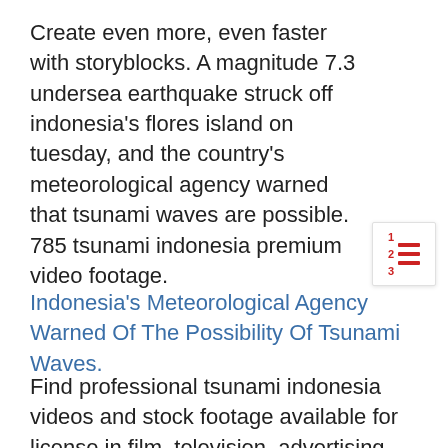Create even more, even faster with storyblocks. A magnitude 7.3 undersea earthquake struck off indonesia's flores island on tuesday, and the country's meteorological agency warned that tsunami waves are possible. 785 tsunami indonesia premium video footage.
[Figure (other): Numbered list icon with red horizontal lines and red numbers 1 2 3 on the left side]
Indonesia's Meteorological Agency Warned Of The Possibility Of Tsunami Waves.
Find professional tsunami indonesia videos and stock footage available for license in film, television, advertising and corporate uses. Ariel footage shows the